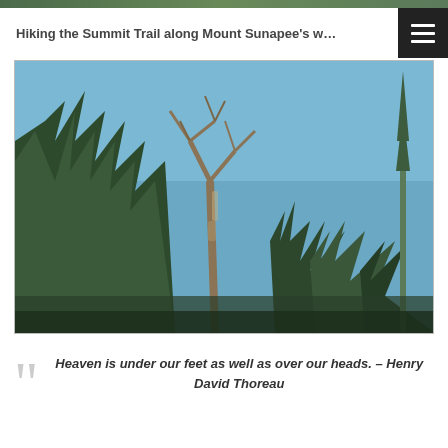[Figure (photo): Top strip of a forest/nature photo visible at the very top of the page]
Hiking the Summit Trail along Mount Sunapee's w…
[Figure (photo): Upward view through tall trees (bare deciduous and evergreen) against a blue sky, taken on Mount Sunapee]
Heaven is under our feet as well as over our heads. – Henry David Thoreau